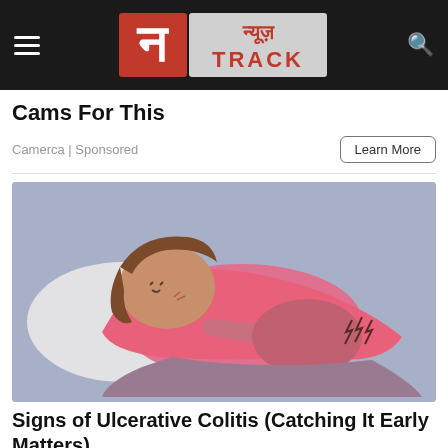न्यूज़ TRACK
Cams For This
Camerca | Sponsored
[Figure (illustration): Cartoon illustration of a woman lying on her side in pain, wearing a pink top, with stomach/abdomen pain indicated by lightning bolt symbols. Background is lavender/grey.]
Signs of Ulcerative Colitis (Catching It Early Matters)